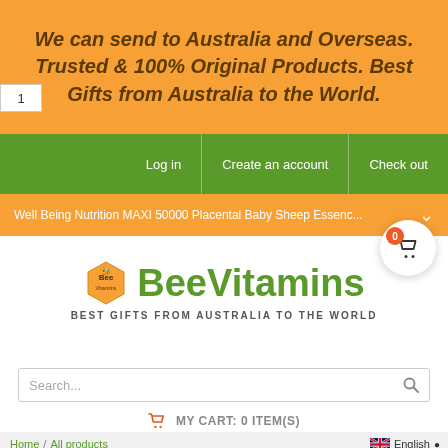We can send to Australia and Overseas. Trusted & 100% Original Products. Best Gifts from Australia to the World.
Log in   Create an account   Check out
Well Being Nutrition MAXI 50000 Placental Baby Sheep Essenc...
[Figure (logo): BeeVitamins logo with hexagon bee icon and text BeeVitamins, BEST GIFTS FROM AUSTRALIA TO THE WORLD]
Search...
MY CART: 0 ITEM(S)
Home / All products
English